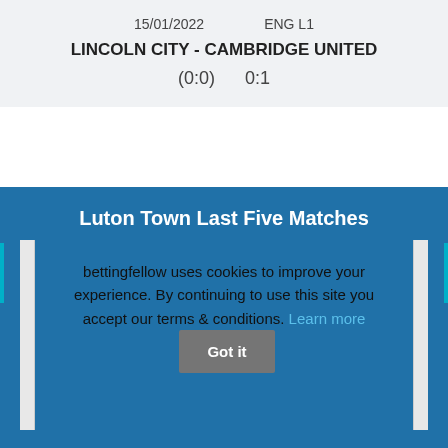15/01/2022    ENG L1
LINCOLN CITY - CAMBRIDGE UNITED
(0:0)    0:1
Luton Town Last Five Matches
bettingfellow uses cookies to improve your experience. By continuing to use this site you accept our terms & conditions. Learn more
Got it
(0:0)    0:0